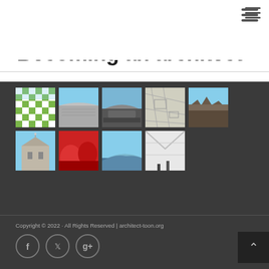≡
Becoming an architect
[Figure (photo): Grid of 9 architectural photos: checkerboard building facade, silver mesh structure, stadium/arena, architectural map/plan, rubble/disaster site, cathedral (Milan Duomo), red modern interior, modern curved building, large interior hall]
Copyright © 2022 · All Rights Reserved | architect-toon.org